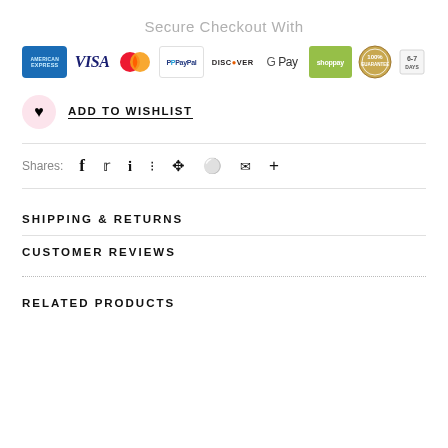Secure Checkout With
[Figure (infographic): Row of payment method icons: American Express, Visa, Mastercard, PayPal, Discover, Google Pay, Shop Pay, 100% guarantee badge, returns icon]
ADD TO WISHLIST
Shares: f  (twitter) (pinterest) (grid) (bookmark) (circle) (mail) +
SHIPPING & RETURNS
CUSTOMER REVIEWS
RELATED PRODUCTS